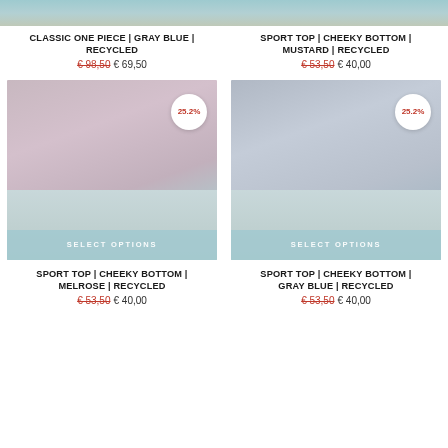[Figure (photo): Cropped top portion of model wearing gray blue one piece swimsuit]
[Figure (photo): Cropped top portion of model wearing mustard sport top and cheeky bottom]
CLASSIC ONE PIECE | GRAY BLUE | RECYCLED
€ 98,50  € 69,50
SPORT TOP | CHEEKY BOTTOM | MUSTARD | RECYCLED
€ 53,50  € 40,00
[Figure (photo): Model wearing sport top and cheeky bottom in Melrose pattern (recycled), with 25.2% discount badge and SELECT OPTIONS overlay]
[Figure (photo): Model wearing sport top and cheeky bottom in Gray Blue pattern (recycled), with 25.2% discount badge and SELECT OPTIONS overlay]
SPORT TOP | CHEEKY BOTTOM | MELROSE | RECYCLED
€ 53,50  € 40,00
SPORT TOP | CHEEKY BOTTOM | GRAY BLUE | RECYCLED
€ 53,50  € 40,00